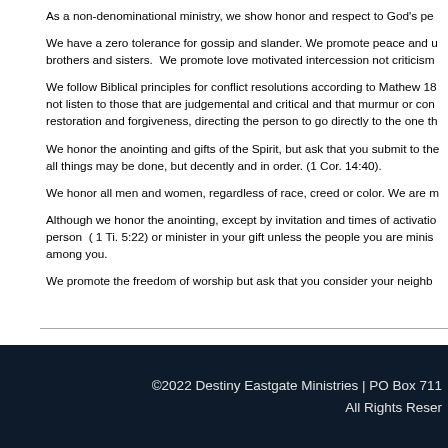As a non-denominational ministry, we show honor and respect to God's pe
We have a zero tolerance for gossip and slander. We promote peace and u brothers and sisters.  We promote love motivated intercession not criticism
We follow Biblical principles for conflict resolutions according to Mathew 18 not listen to those that are judgemental and critical and that murmur or con restoration and forgiveness, directing the person to go directly to the one th
We honor the anointing and gifts of the Spirit, but ask that you submit to the all things may be done, but decently and in order. (1 Cor. 14:40).
We honor all men and women, regardless of race, creed or color. We are m
Although we honor the anointing, except by invitation and times of activatio person  ( 1 Ti. 5:22) or minister in your gift unless the people you are minis among you.
We promote the freedom of worship but ask that you consider your neighb
©2022 Destiny Eastgate Ministries | PO Box 711
All Rights Reser